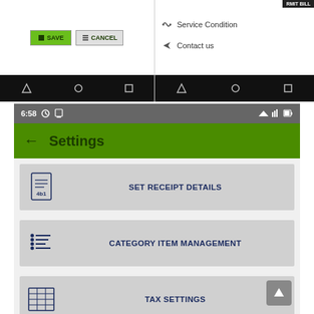[Figure (screenshot): Top strip showing two Android app screenshots side by side. Left screenshot shows SAVE and CANCEL buttons. Right screenshot shows a menu with Service Condition and Contact us options. Both have Android navigation bars at the bottom.]
[Figure (screenshot): Android app Settings screen at 6:58. Green header bar with back arrow and 'Settings' title. Three menu buttons: SET RECEIPT DETAILS, CATEGORY ITEM MANAGEMENT, TAX SETTINGS, and partially visible DISCOUNT SETTINGS. Scroll-to-top button in bottom right.]